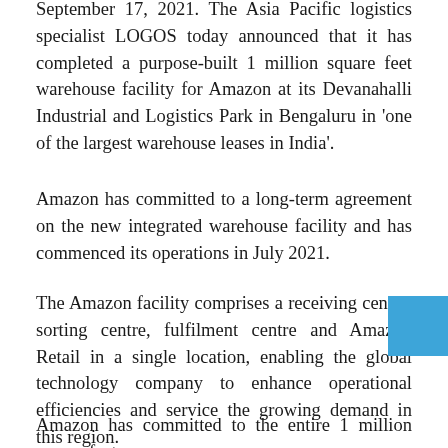September 17, 2021. The Asia Pacific logistics specialist LOGOS today announced that it has completed a purpose-built 1 million square feet warehouse facility for Amazon at its Devanahalli Industrial and Logistics Park in Bengaluru in 'one of the largest warehouse leases in India'.
Amazon has committed to a long-term agreement on the new integrated warehouse facility and has commenced its operations in July 2021.
The Amazon facility comprises a receiving centre, sorting centre, fulfilment centre and Amazon Retail in a single location, enabling the global technology company to enhance operational efficiencies and service the growing demand in this region.
Amazon has committed to the entire 1 million square feet